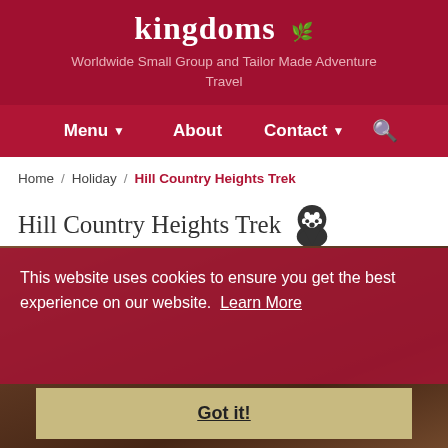kingdoms — Worldwide Small Group and Tailor Made Adventure Travel
Menu ▾  About  Contact ▾  🔍
Home / Holiday / Hill Country Heights Trek
Hill Country Heights Trek
Colombo, Sri Lanka | Walking & Trekking
This website uses cookies to ensure you get the best experience on our website. Learn More
Got it!